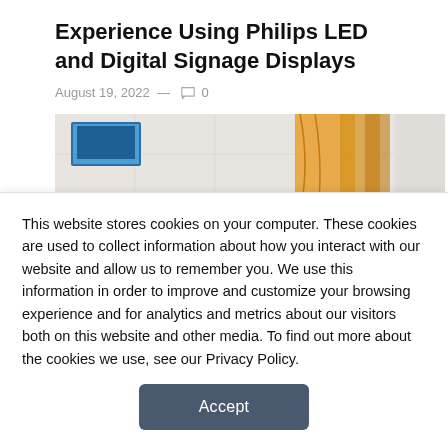Experience Using Philips LED and Digital Signage Displays
August 19, 2022 — 0
[Figure (photo): Hospital room with beds, orange curtains, and a TV display mounted on the wall]
Extron High-Performance AV
This website stores cookies on your computer. These cookies are used to collect information about how you interact with our website and allow us to remember you. We use this information in order to improve and customize your browsing experience and for analytics and metrics about our visitors both on this website and other media. To find out more about the cookies we use, see our Privacy Policy.